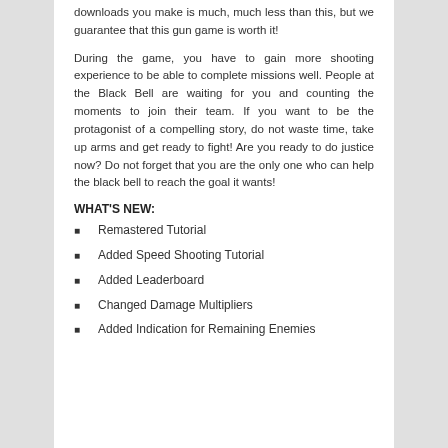downloads you make is much, much less than this, but we guarantee that this gun game is worth it!
During the game, you have to gain more shooting experience to be able to complete missions well. People at the Black Bell are waiting for you and counting the moments to join their team. If you want to be the protagonist of a compelling story, do not waste time, take up arms and get ready to fight! Are you ready to do justice now? Do not forget that you are the only one who can help the black bell to reach the goal it wants!
WHAT'S NEW:
Remastered Tutorial
Added Speed Shooting Tutorial
Added Leaderboard
Changed Damage Multipliers
Added Indication for Remaining Enemies